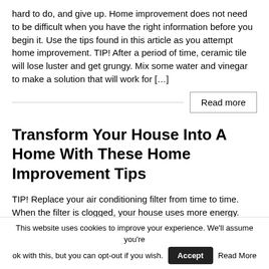hard to do, and give up. Home improvement does not need to be difficult when you have the right information before you begin it. Use the tips found in this article as you attempt home improvement. TIP! After a period of time, ceramic tile will lose luster and get grungy. Mix some water and vinegar to make a solution that will work for […]
Read more
Transform Your House Into A Home With These Home Improvement Tips
TIP! Replace your air conditioning filter from time to time. When the filter is clogged, your house uses more energy. Home improvement projects can be frightening to many homeowners. They may be
This website uses cookies to improve your experience. We'll assume you're ok with this, but you can opt-out if you wish. Accept Read More